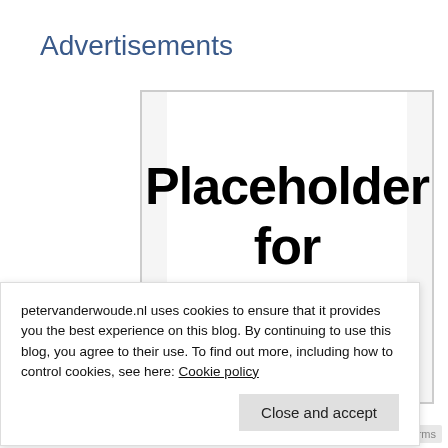Advertisements
[Figure (other): Placeholder for advertising box with bold text reading 'Placeholder for advertising']
petervanderwoude.nl uses cookies to ensure that it provides you the best experience on this blog. By continuing to use this blog, you agree to their use. To find out more, including how to control cookies, see here: Cookie policy
Close and accept
Privacy · Terms